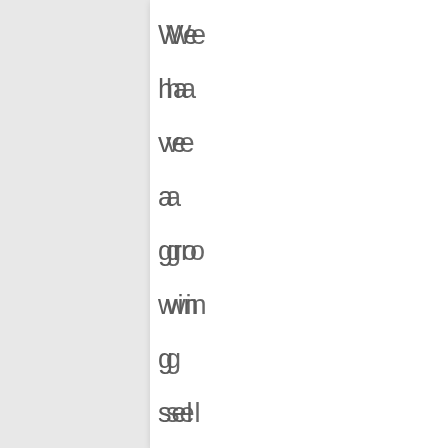We have a growing selection of industrial dining tables that t